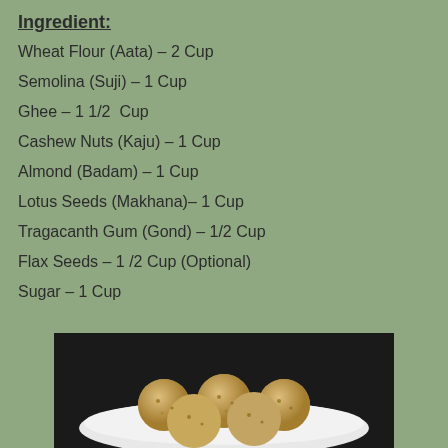Ingredient:
Wheat Flour (Aata) – 2 Cup
Semolina (Suji) – 1 Cup
Ghee – 1 1/2  Cup
Cashew Nuts (Kaju) – 1 Cup
Almond (Badam) – 1 Cup
Lotus Seeds (Makhana)– 1 Cup
Tragacanth Gum (Gond) – 1/2 Cup
Flax Seeds – 1 /2 Cup (Optional)
Sugar – 1 Cup
[Figure (photo): Photo of round ladoo/energy balls on a white plate, dark background, golden-brown color with visible nuts and seeds]